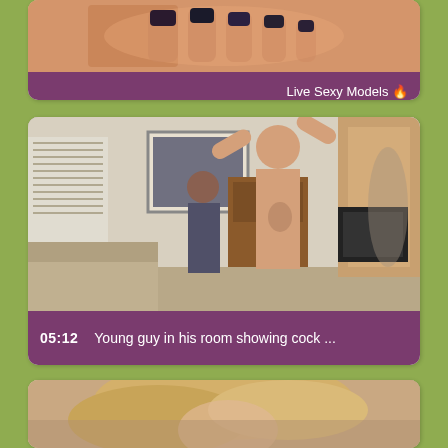[Figure (screenshot): Video thumbnail card 1: close-up of feet with dark nail polish on purple/mauve overlay bar reading 'Live Sexy Models 🔥']
[Figure (screenshot): Video thumbnail card 2: man in living room with duration 05:12 and title 'Young guy in his room showing cock ...' on purple overlay bar]
[Figure (screenshot): Video thumbnail card 3 (partial): blonde person close-up, partially visible at bottom]